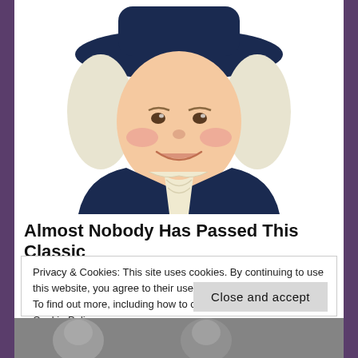[Figure (illustration): Quaker Oats man mascot illustration — a smiling, rosy-cheeked man with white curly hair, wearing a dark navy colonial coat with white cravat and a wide-brimmed dark hat, depicted from the waist up on a white background.]
Almost Nobody Has Passed This Classic
Privacy & Cookies: This site uses cookies. By continuing to use this website, you agree to their use.
To find out more, including how to control cookies, see here: Cookie Policy
Close and accept
[Figure (photo): Partial view of black and white photograph at the bottom of the page showing people's faces.]